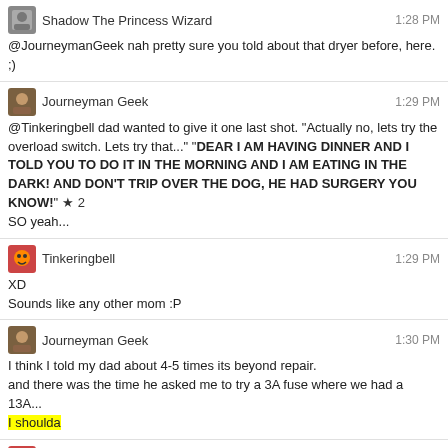Shadow The Princess Wizard | 1:28 PM
@JourneymanGeek nah pretty sure you told about that dryer before, here. ;)
Journeyman Geek | 1:29 PM
@Tinkeringbell dad wanted to give it one last shot. "Actually no, lets try the overload switch. Lets try that..." "DEAR I AM HAVING DINNER AND I TOLD YOU TO DO IT IN THE MORNING AND I AM EATING IN THE DARK! AND DON'T TRIP OVER THE DOG, HE HAD SURGERY YOU KNOW!"
SO yeah... ★2
Tinkeringbell | 1:29 PM
XD
Sounds like any other mom :P
Journeyman Geek | 1:30 PM
I think I told my dad about 4-5 times its beyond repair.
and there was the time he asked me to try a 3A fuse where we had a 13A...
I shoulda
Tinkeringbell | 1:30 PM
Yeah I think that was the time you told me about fire hazards XD
Journeyman Geek | 1:32 PM
Also, dad tripped the local breaker using the test switch at one point.
--.
THE MAN IS AN ENGINEER.